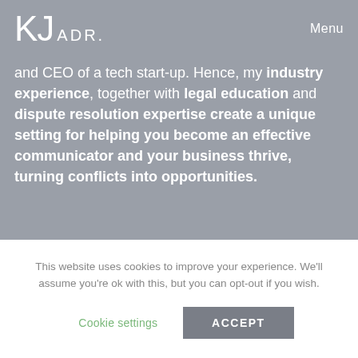KJ ADR. Menu
and CEO of a tech start-up. Hence, my industry experience, together with legal education and dispute resolution expertise create a unique setting for helping you become an effective communicator and your business thrive, turning conflicts into opportunities.
If my approach and profile sound like what
This website uses cookies to improve your experience. We'll assume you're ok with this, but you can opt-out if you wish.
Cookie settings
ACCEPT